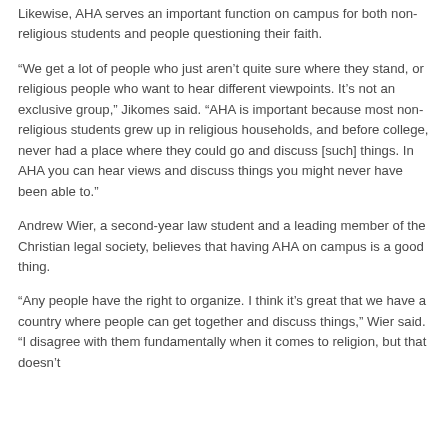Likewise, AHA serves an important function on campus for both non-religious students and people questioning their faith.
“We get a lot of people who just aren’t quite sure where they stand, or religious people who want to hear different viewpoints. It’s not an exclusive group,” Jikomes said. “AHA is important because most non-religious students grew up in religious households, and before college, never had a place where they could go and discuss [such] things. In AHA you can hear views and discuss things you might never have been able to.”
Andrew Wier, a second-year law student and a leading member of the Christian legal society, believes that having AHA on campus is a good thing.
“Any people have the right to organize. I think it’s great that we have a country where people can get together and discuss things,” Wier said. “I disagree with them fundamentally when it comes to religion, but that doesn’t